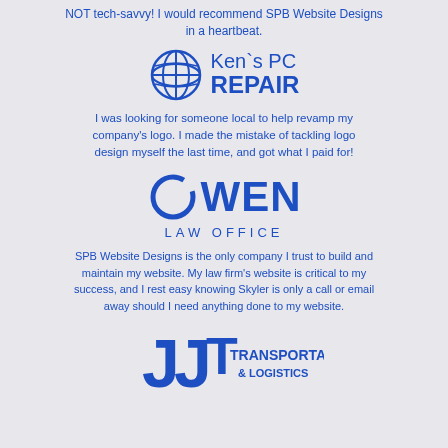NOT tech-savvy! I would recommend SPB Website Designs in a heartbeat.
[Figure (logo): Ken's PC Repair logo with globe icon on left and text on right]
I was looking for someone local to help revamp my company's logo. I made the mistake of tackling logo design myself the last time, and got what I paid for!
[Figure (logo): Owen Law Office logo with circular O lettermark and serif text]
SPB Website Designs is the only company I trust to build and maintain my website. My law firm's website is critical to my success, and I rest easy knowing Skyler is only a call or email away should I need anything done to my website.
[Figure (logo): JJT Transportation & Logistics logo with stylized JJ letters and text]